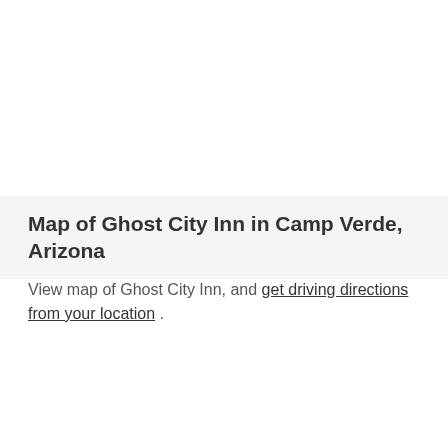Map of Ghost City Inn in Camp Verde, Arizona
View map of Ghost City Inn, and get driving directions from your location .